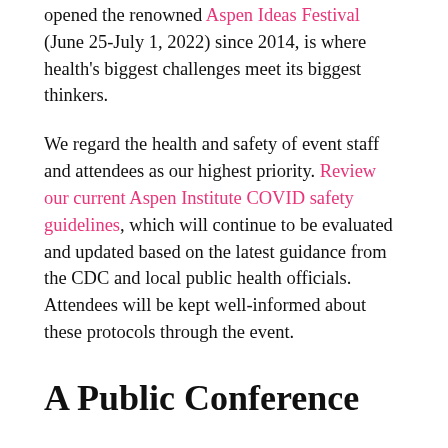opened the renowned Aspen Ideas Festival (June 25-July 1, 2022) since 2014, is where health's biggest challenges meet its biggest thinkers.
We regard the health and safety of event staff and attendees as our highest priority. Review our current Aspen Institute COVID safety guidelines, which will continue to be evaluated and updated based on the latest guidance from the CDC and local public health officials. Attendees will be kept well-informed about these protocols through the event.
A Public Conference
Anyone may purchase a pass to attend - Aspen Ideas: Health is open to all! From health practitioners and researchers to business leaders and policymakers to innovators and advocates to artists and journalists, our